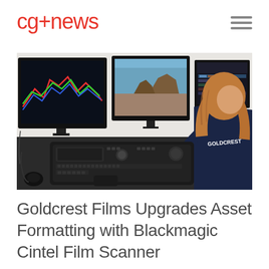cg+news
[Figure (photo): A person with red/blonde hair wearing a dark navy hoodie with 'GOLDCREST' branding sits at a professional film editing/color grading workstation with multiple monitors showing video editing software and footage, with a DaVinci Resolve control surface keyboard in front.]
Goldcrest Films Upgrades Asset Formatting with Blackmagic Cintel Film Scanner